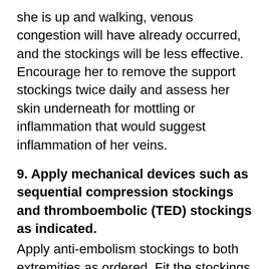she is up and walking, venous congestion will have already occurred, and the stockings will be less effective. Encourage her to remove the support stockings twice daily and assess her skin underneath for mottling or inflammation that would suggest inflammation of her veins.
9. Apply mechanical devices such as sequential compression stockings and thromboembolic (TED) stockings as indicated.
Apply anti-embolism stockings to both extremities as ordered. Fit the stockings correctly to avoid excess pressure and constriction and urge the client to wear them. Sequential compression devices can also be used for clients with varicose veins, a